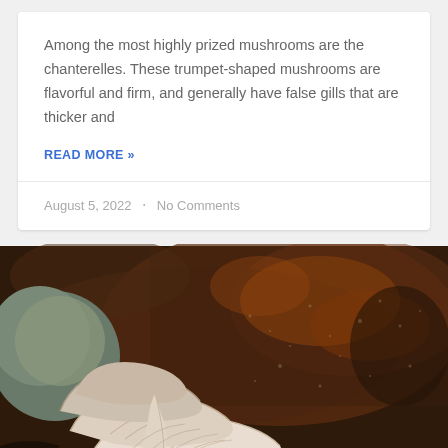Among the most highly prized mushrooms are the chanterelles. These trumpet-shaped mushrooms are flavorful and firm, and generally have false gills that are thicker and
READ MORE »
August 5, 2022  ·  No Comments
[Figure (photo): Close-up photograph of pale cream/pink oyster mushrooms growing against a dark brown rocky or bark background. Several mushroom caps and gills are visible, arranged in a cluster in the lower-left portion of the image.]